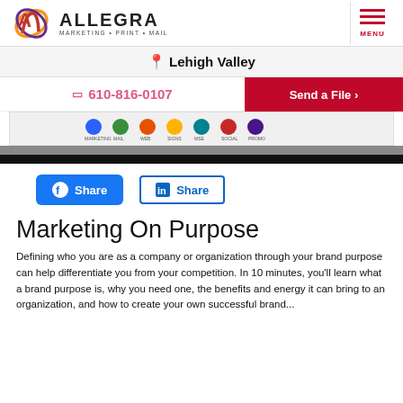[Figure (logo): Allegra Marketing Print Mail logo with stylized A in orange/red/purple gradient and company name]
Lehigh Valley
610-816-0107
Send a File ›
[Figure (screenshot): Partial screenshot of a website content strip with icons and a dark band]
Share (Facebook)
Share (LinkedIn)
Marketing On Purpose
Defining who you are as a company or organization through your brand purpose can help differentiate you from your competition. In 10 minutes, you'll learn what a brand purpose is, why you need one, the benefits and energy it can bring to an organization, and how to create your own successful brand...